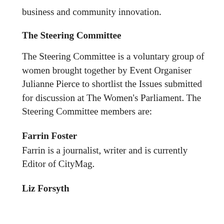business and community innovation.
The Steering Committee
The Steering Committee is a voluntary group of women brought together by Event Organiser Julianne Pierce to shortlist the Issues submitted for discussion at The Women's Parliament. The Steering Committee members are:
Farrin Foster
Farrin is a journalist, writer and is currently Editor of CityMag.
Liz Forsyth